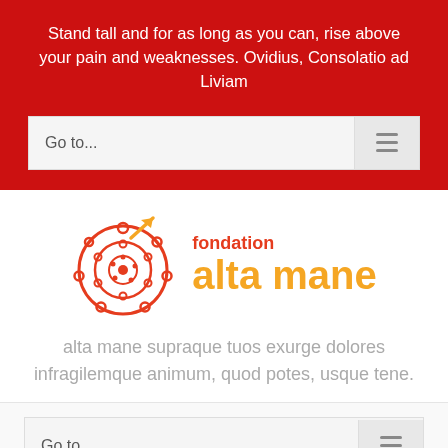Stand tall and for as long as you can, rise above your pain and weaknesses. Ovidius, Consolatio ad Liviam
[Figure (screenshot): Go to... navigation widget with hamburger menu icon, on red background]
[Figure (logo): Fondation alta mane logo: red spiral shell with orange arrow, text 'fondation alta mane']
alta mane supraque tuos exurge dolores infragilemque animum, quod potes, usque tene.
[Figure (screenshot): Go to... navigation widget with hamburger menu icon, on light grey background]
/